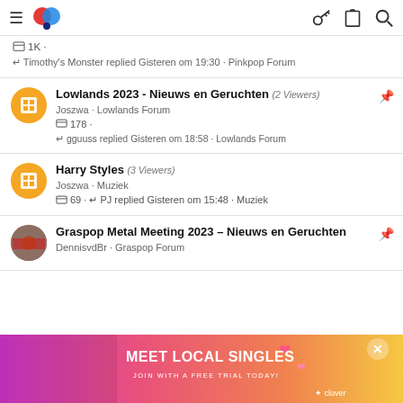Navigation bar with hamburger menu, Lowlands logo, key icon, clipboard icon, search icon
1K · Timothy's Monster replied Gisteren om 19:30 · Pinkpop Forum
Lowlands 2023 - Nieuws en Geruchten (2 Viewers)
Joszwa · Lowlands Forum
178 · gguuss replied Gisteren om 18:58 · Lowlands Forum
Harry Styles (3 Viewers)
Joszwa · Muziek
69 · PJ replied Gisteren om 15:48 · Muziek
Graspop Metal Meeting 2023 – Nieuws en Geruchten
DennisvdBr · Graspop Forum
[Figure (screenshot): Advertisement banner: MEET LOCAL SINGLES - JOIN WITH A FREE TRIAL TODAY! - clover app logo, with close button]